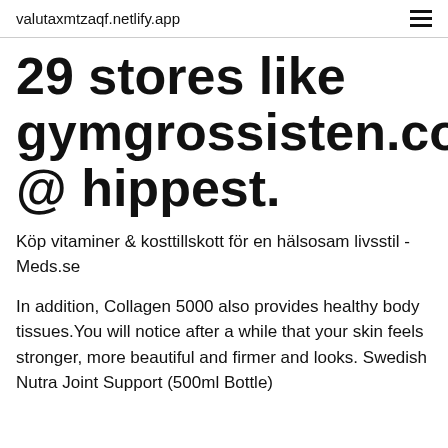valutaxmtzaqf.netlify.app
29 stores like gymgrossisten.com @ hippest.
Köp vitaminer & kosttillskott för en hälsosam livsstil - Meds.se
In addition, Collagen 5000 also provides healthy body tissues.You will notice after a while that your skin feels stronger, more beautiful and firmer and looks. Swedish Nutra Joint Support (500ml Bottle)